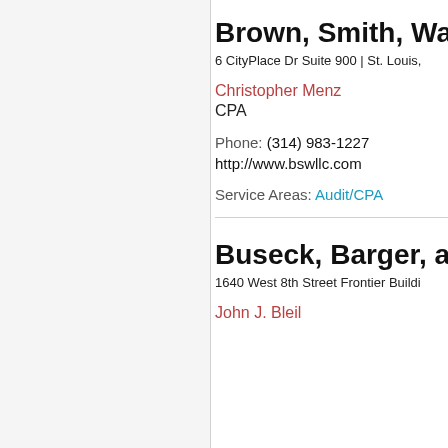Brown, Smith, Wa…
6 CityPlace Dr Suite 900 | St. Louis,…
Christopher Menz
CPA
Phone: (314) 983-1227
http://www.bswllc.com
Service Areas: Audit/CPA
Buseck, Barger, ar…
1640 West 8th Street Frontier Buildi…
John J. Bleil